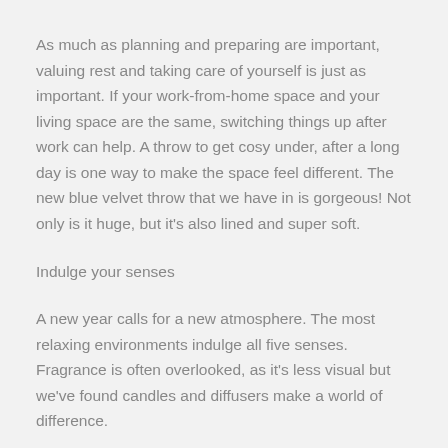As much as planning and preparing are important, valuing rest and taking care of yourself is just as important. If your work-from-home space and your living space are the same, switching things up after work can help. A throw to get cosy under, after a long day is one way to make the space feel different. The new blue velvet throw that we have in is gorgeous! Not only is it huge, but it's also lined and super soft.
Indulge your senses
A new year calls for a new atmosphere. The most relaxing environments indulge all five senses. Fragrance is often overlooked, as it's less visual but we've found candles and diffusers make a world of difference.
Whether you're into fresh, fruity fragrance or